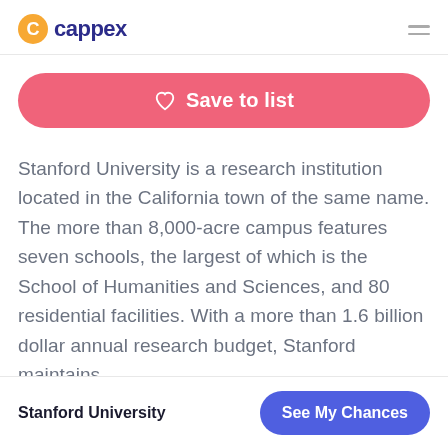cappex
Save to list
Stanford University is a research institution located in the California town of the same name. The more than 8,000-acre campus features seven schools, the largest of which is the School of Humanities and Sciences, and 80 residential facilities. With a more than 1.6 billion dollar annual research budget, Stanford maintains
Stanford University  See My Chances